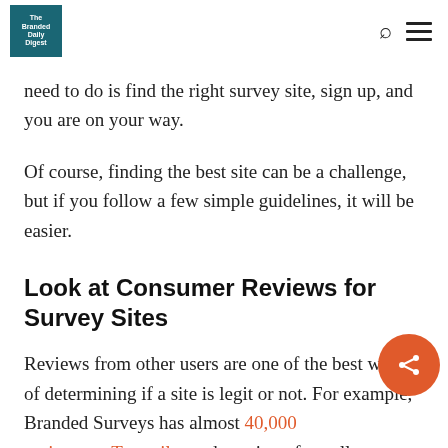The Branded Daily Digest
need to do is find the right survey site, sign up, and you are on your way.
Of course, finding the best site can be a challenge, but if you follow a few simple guidelines, it will be easier.
Look at Consumer Reviews for Survey Sites
Reviews from other users are one of the best ways of determining if a site is legit or not. For example, Branded Surveys has almost 40,000 reviews on Trustpilot and a rating of excellent.